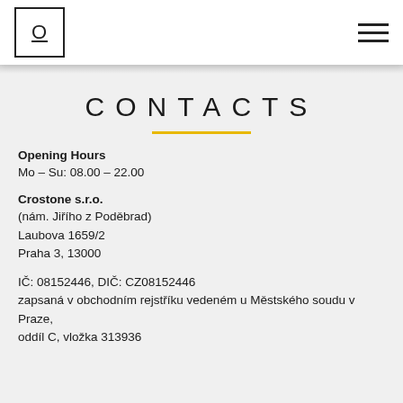O [logo] / hamburger menu
CONTACTS
Opening Hours
Mo – Su: 08.00 – 22.00
Crostone s.r.o.
(nám. Jiřího z Poděbrad)
Laubova 1659/2
Praha 3, 13000
IČ: 08152446, DIČ: CZ08152446
zapsaná v obchodním rejstříku vedeném u Městského soudu v Praze,
oddíl C, vložka 313936